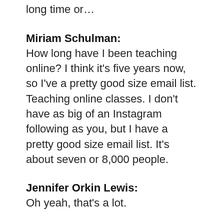long time or…
Miriam Schulman:
How long have I been teaching online? I think it's five years now, so I've a pretty good size email list. Teaching online classes. I don't have as big of an Instagram following as you, but I have a pretty good size email list. It's about seven or 8,000 people.
Jennifer Orkin Lewis:
Oh yeah, that's a lot.
Miriam Schulman: